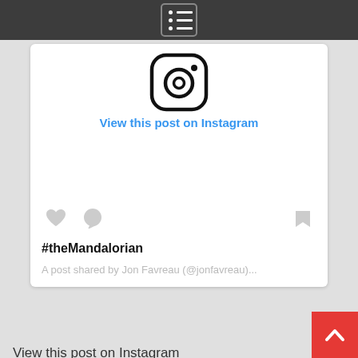[Figure (screenshot): Dark top navigation bar with a hamburger/list menu icon in the center, white dots and lines on dark background with rounded border]
[Figure (logo): Instagram logo icon - rounded square with camera outline, circle in center and dot in upper right corner]
View this post on Instagram
[Figure (illustration): Row of social interaction icons: heart icon, speech bubble icon on the left; quotation/bookmark icon on the right - all in light gray]
#theMandalorian
A post shared by Jon Favreau (@jonfavreau)...
View this post on Instagram
#theMandalorian
A post shared by Jon Favreau (@jonfavreau) on